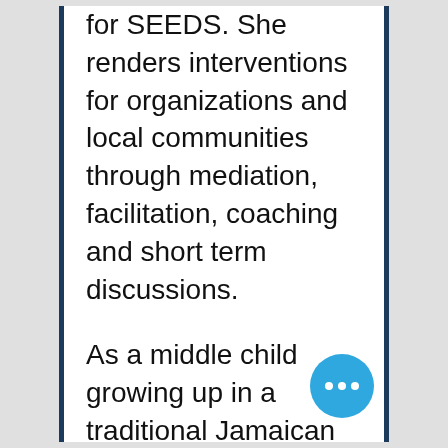for SEEDS. She renders interventions for organizations and local communities through mediation, facilitation, coaching and short term discussions.

As a middle child growing up in a traditional Jamaican household, Adriana instinctively embraced the role of mediator, not only between her siblings but